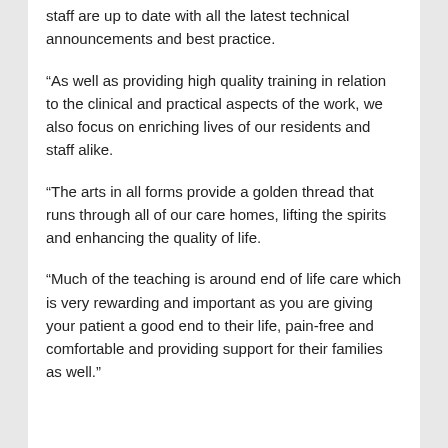staff are up to date with all the latest technical announcements and best practice.
“As well as providing high quality training in relation to the clinical and practical aspects of the work, we also focus on enriching lives of our residents and staff alike.
“The arts in all forms provide a golden thread that runs through all of our care homes, lifting the spirits and enhancing the quality of life.
“Much of the teaching is around end of life care which is very rewarding and important as you are giving your patient a good end to their life, pain-free and comfortable and providing support for their families as well.”